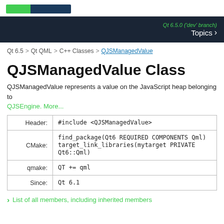Qt 6.5.0 ('dev' branch)  Topics
Qt 6.5 > Qt QML > C++ Classes > QJSManagedValue
QJSManagedValue Class
QJSManagedValue represents a value on the JavaScript heap belonging to QJSEngine. More...
|  |  |
| --- | --- |
| Header: | #include <QJSManagedValue> |
| CMake: | find_package(Qt6 REQUIRED COMPONENTS Qml)
target_link_libraries(mytarget PRIVATE Qt6::Qml) |
| qmake: | QT += qml |
| Since: | Qt 6.1 |
List of all members, including inherited members